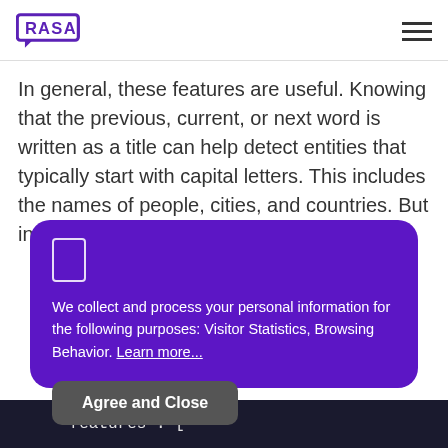RASA
In general, these features are useful. Knowing that the previous, current, or next word is written as a title can help detect entities that typically start with capital letters. This includes the names of people, cities, and countries. But in the case of detecting
We collect and process your personal information for the following purposes: Visitor Statistics, Browsing Behavior. Learn more...
Agree and Close
"features": [